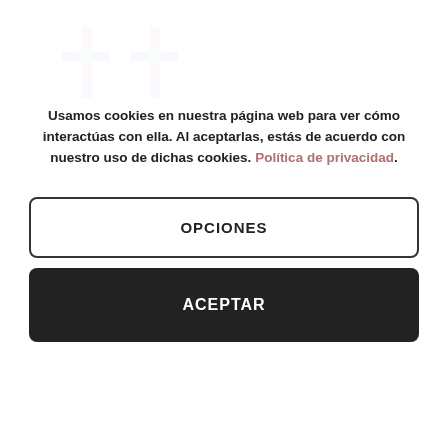[Figure (photo): Product photo showing two cross-shaped earrings (pendientes cruz) made with colorful red, blue, green, and purple beads or crystal elements on a light background.]
PENDIENTES CRUZ
Usamos cookies en nuestra página web para ver cómo interactúas con ella. Al aceptarlas, estás de acuerdo con nuestro uso de dichas cookies. Política de privacidad.
OPCIONES
ACEPTAR